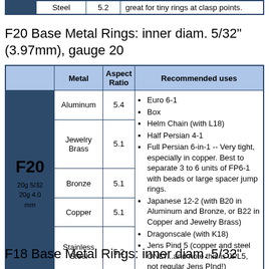|  | Metal | Aspect Ratio | Recommended uses |
| --- | --- | --- | --- |
|  | Steel | 5.2 | great for tiny rings at clasp points. |
F20 Base Metal Rings: inner diam. 5/32" (3.97mm), gauge 20
|  | Metal | Aspect Ratio | Recommended uses |
| --- | --- | --- | --- |
| F20
20g 5/32
20g 4.0 mm | Aluminum | 5.4 | Euro 6-1; Box; Helm Chain (with L18); Half Persian 4-1; Full Persian 6-in-1 -- Very tight, especially in copper. Best to separate 3 to 6 units of FP6-1 with beads or large spacer jump rings.; Japanese 12-2 (with B20 in Aluminum and Bronze, or B22 in Copper and Jewelry Brass); Dragonscale (with K18); Jens Pind 5 (copper and steel ONLY...and note this is JPL5, not regular Jens PInd!) |
|  | Jewelry Brass | 5.1 |  |
|  | Bronze | 5.1 |  |
|  | Copper | 5.1 |  |
|  | Stainless Steel | 5.2 |  |
F18 Base Metal Rings: inner diam. 5/32"